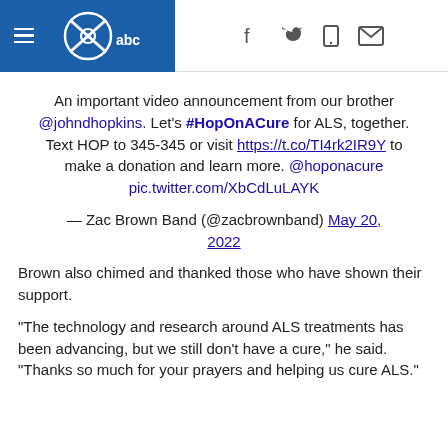KSAT ABC — navigation header with hamburger menu, logo, and social icons (f, twitter, mobile, mail)
An important video announcement from our brother @johndhopkins. Let's #HopOnACure for ALS, together. Text HOP to 345-345 or visit https://t.co/TI4rk2IR9Y to make a donation and learn more. @hoponacure pic.twitter.com/XbCdLuLAYK
— Zac Brown Band (@zacbrownband) May 20, 2022
Brown also chimed and thanked those who have shown their support.
"The technology and research around ALS treatments has been advancing, but we still don't have a cure," he said. "Thanks so much for your prayers and helping us cure ALS."